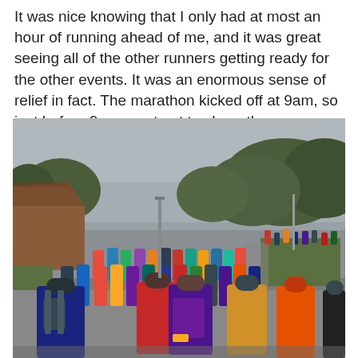It was nice knowing that I only had at most an hour of running ahead of me, and it was great seeing all of the other runners getting ready for the other events. It was an enormous sense of relief in fact. The marathon kicked off at 9am, so just before 9 we went out to cheer them on.
[Figure (photo): Outdoor photo of a large crowd of runners gathered at what appears to be a race start area on a wet, overcast day. Runners are wearing colorful athletic gear including yellow high-vis vests, red jackets, and backpacks. Trees and hills are visible in the background, along with a building on the left and spectators on elevated ground to the right.]